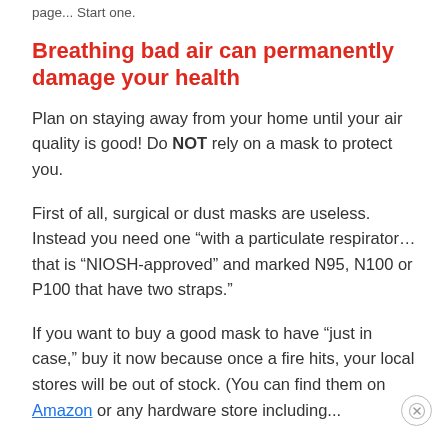page... Start one.
Breathing bad air can permanently damage your health
Plan on staying away from your home until your air quality is good! Do NOT rely on a mask to protect you.
First of all, surgical or dust masks are useless. Instead you need one “with a particulate respirator… that is “NIOSH-approved” and marked N95, N100 or P100 that have two straps.”
If you want to buy a good mask to have “just in case,” buy it now because once a fire hits, your local stores will be out of stock. (You can find them on Amazon or any hardware store including...